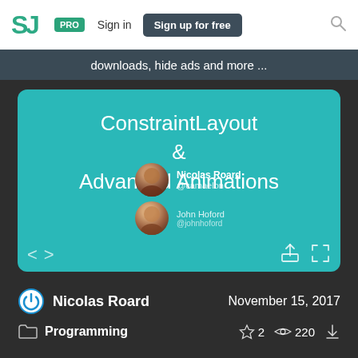SJ PRO  Sign in  Sign up for free
downloads, hide ads and more ...
[Figure (screenshot): Slide presentation cover: ConstraintLayout & Advanced Animations by Nicolas Roard (@camaelon) and John Hoford (@johnhoford), with navigation arrows and share/fullscreen icons on a teal background.]
Nicolas Roard
November 15, 2017
Programming
2
220